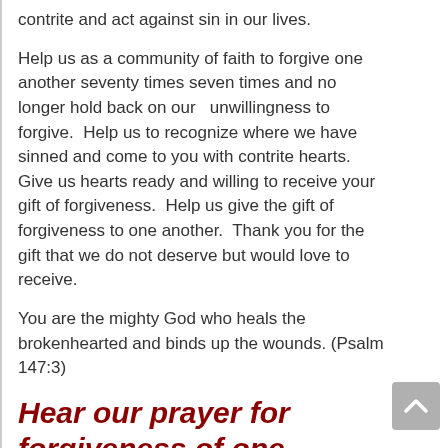contrite and act against sin in our lives.
Help us as a community of faith to forgive one another seventy times seven times and no longer hold back on our   unwillingness to forgive.  Help us to recognize where we have sinned and come to you with contrite hearts.  Give us hearts ready and willing to receive your gift of forgiveness.  Help us give the gift of forgiveness to one another.  Thank you for the gift that we do not deserve but would love to receive.
You are the mighty God who heals the brokenhearted and binds up the wounds. (Psalm 147:3)
Hear our prayer for forgiveness of one another.